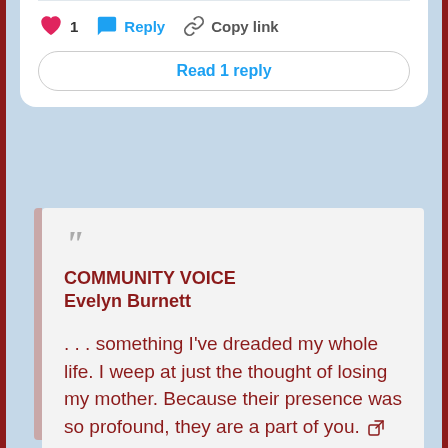[Figure (screenshot): Tweet interaction bar with heart (1 like), Reply, Copy link buttons and a 'Read 1 reply' button]
COMMUNITY VOICE
Evelyn Burnett

. . . something I've dreaded my whole life. I weep at just the thought of losing my mother. Because their presence was so profound, they are a part of you.